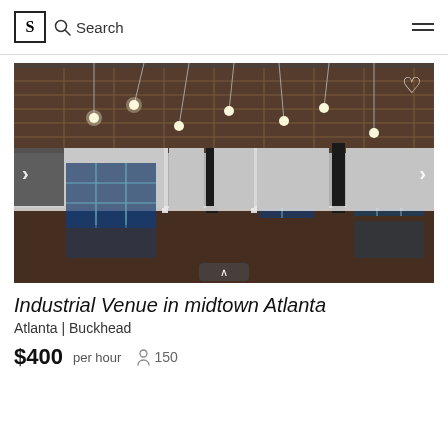S  Search
[Figure (photo): Interior of an industrial venue with exposed ceiling grid, string lights, black structural columns, grey walls with grid windows showing blue evening light outside, and a highly polished reflective dark floor.]
Industrial Venue in midtown Atlanta
Atlanta | Buckhead
$400 per hour  150